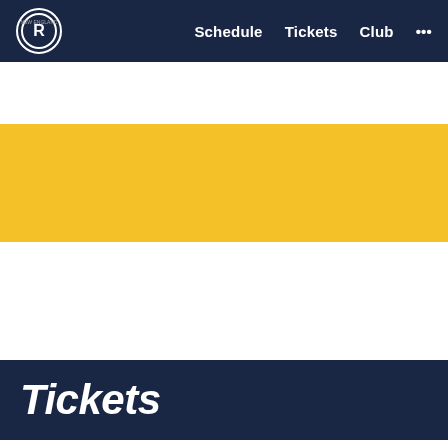Schedule  Tickets  Club  ...
[Figure (illustration): Yellow decorative banner strip]
Tickets
Tickets   Memberships   Single-Game Tickets   Mu...
[Figure (photo): Black and white crowd photo with All-Inclusive Optum Field Lounge Access promotional banner overlay]